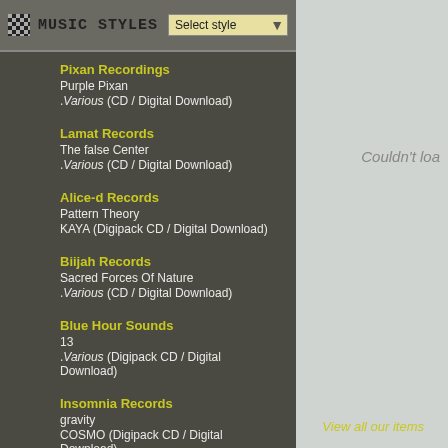MUSIC STYLES  Select style
Pixan Recordings
Purple Pixan
.Various (CD / Digital Download)
Lamat Records
The false Center
.Various (CD / Digital Download)
Alice-d Records
Pattern Theory
KAYA (Digipack CD / Digital Download)
Biijah Records
Sacred Forces Of Nature
.Various (CD / Digital Download)
Blue Hour Sounds
13
.Various (Digipack CD / Digital Download)
Insomnia Records
gravity
COSMO (Digipack CD / Digital Download)
View all our items
Couldn't loa